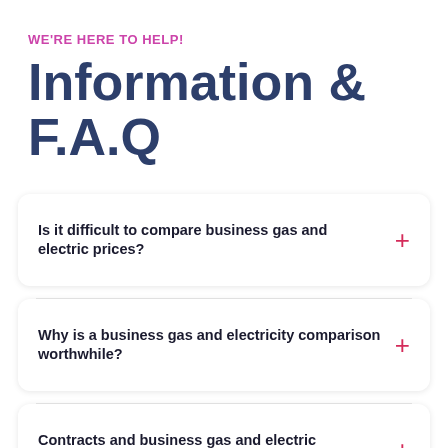WE'RE HERE TO HELP!
Information & F.A.Q
Is it difficult to compare business gas and electric prices?
Why is a business gas and electricity comparison worthwhile?
Contracts and business gas and electric comparison